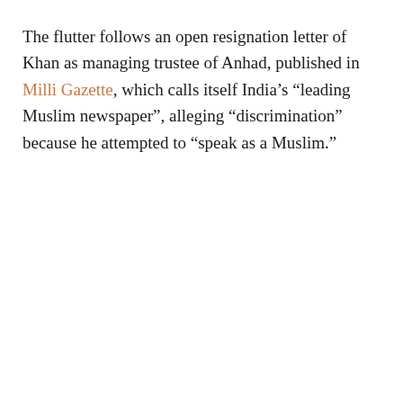The flutter follows an open resignation letter of Khan as managing trustee of Anhad, published in Milli Gazette, which calls itself India's “leading Muslim newspaper”, alleging “discrimination” because he attempted to “speak as a Muslim.”